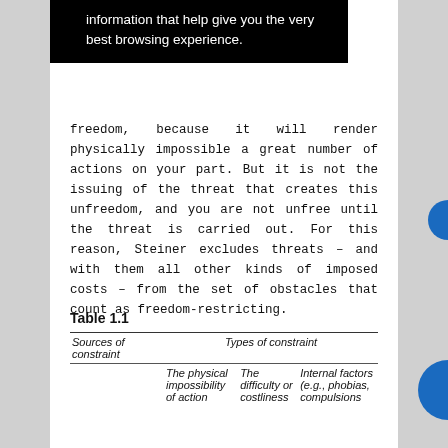[Figure (screenshot): Black cookie/notification banner overlay with white text reading 'information that help give you the very best browsing experience.']
freedom, because it will render physically impossible a great number of actions on your part. But it is not the issuing of the threat that creates this unfreedom, and you are not unfree until the threat is carried out. For this reason, Steiner excludes threats – and with them all other kinds of imposed costs – from the set of obstacles that count as freedom-restricting.
Table 1.1
| Sources of constraint | Types of constraint |  |  |
| --- | --- | --- | --- |
|  | The physical impossibility of action | The difficulty or costliness | Internal factors (e.g., phobias, compulsions |